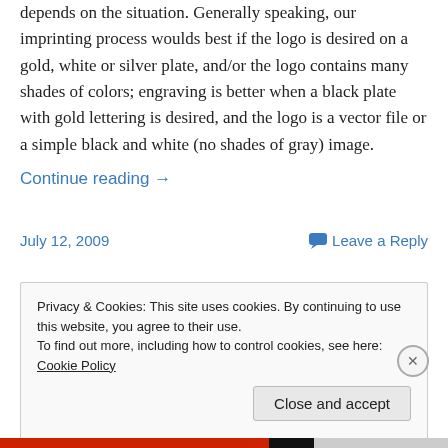depends on the situation. Generally speaking, our imprinting process woulds best if the logo is desired on a gold, white or silver plate, and/or the logo contains many shades of colors; engraving is better when a black plate with gold lettering is desired, and the logo is a vector file or a simple black and white (no shades of gray) image.
Continue reading →
July 12, 2009
Leave a Reply
Privacy & Cookies: This site uses cookies. By continuing to use this website, you agree to their use.
To find out more, including how to control cookies, see here: Cookie Policy
Close and accept